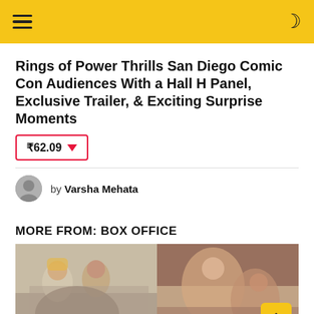Navigation header with hamburger menu and dark mode toggle
Rings of Power Thrills San Diego Comic Con Audiences With a Hall H Panel, Exclusive Trailer, & Exciting Surprise Moments
₹62.09 ▼
by Varsha Mehata
MORE FROM: BOX OFFICE
[Figure (photo): Two movie promotional stills side by side: left shows a Sikh man and woman walking in a forest, right shows a man hugging others while laughing]